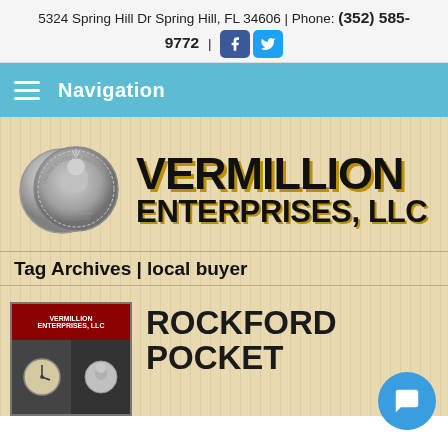5324 Spring Hill Dr Spring Hill, FL 34606 | Phone: (352) 585-9772
Navigation
[Figure (logo): Vermillion Enterprises LLC logo with silver coin image and bold black text]
Tag Archives | local buyer
[Figure (photo): Preview image showing Vermillion Enterprises advertisement with coins and clocks]
ROCKFORD POCKET